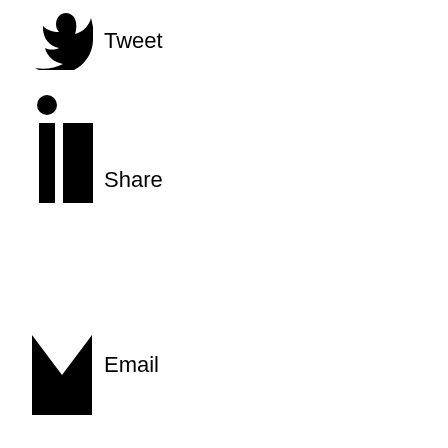Tweet
Share
Email
Want to Avoid Being Audited? Check Status of Independent Contractors
Learn About Sales People Being Employees vs Independent...